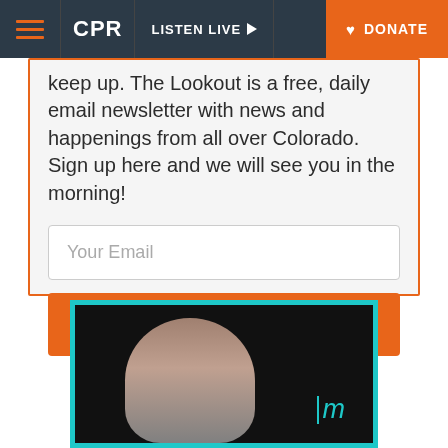CPR | LISTEN LIVE | DONATE
keep up. The Lookout is a free, daily email newsletter with news and happenings from all over Colorado. Sign up here and we will see you in the morning!
[Figure (screenshot): Email signup form with Your Email input field and orange GO button]
[Figure (photo): Photo of a person in front of a teal/cyan bordered frame with 'lm' text logo]